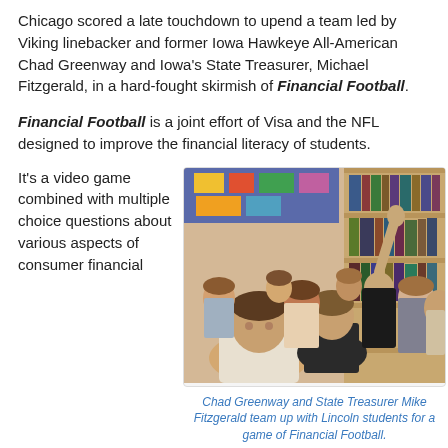Chicago scored a late touchdown to upend a team led by Viking linebacker and former Iowa Hawkeye All-American Chad Greenway and Iowa's State Treasurer, Michael Fitzgerald, in a hard-fought skirmish of Financial Football.
Financial Football is a joint effort of Visa and the NFL designed to improve the financial literacy of students.
It's a video game combined with multiple choice questions about various aspects of consumer financial
[Figure (photo): Students in a library/classroom setting, some raising hands, watching a presentation. Multiple young people are seated in chairs.]
Chad Greenway and State Treasurer Mike Fitzgerald team up with Lincoln students for a game of Financial Football.
management.